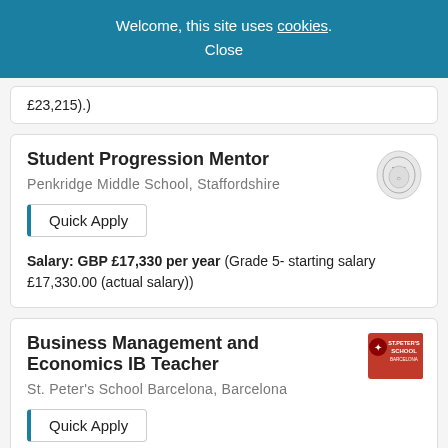Welcome, this site uses cookies. Close
£23,215).)
Student Progression Mentor
Penkridge Middle School, Staffordshire
Quick Apply
Salary: GBP £17,330 per year (Grade 5- starting salary £17,330.00 (actual salary))
Business Management and Economics IB Teacher
St. Peter's School Barcelona, Barcelona
Quick Apply
Salary: EUR €30,000 - €32,000 per year
Computer Science IB teacher